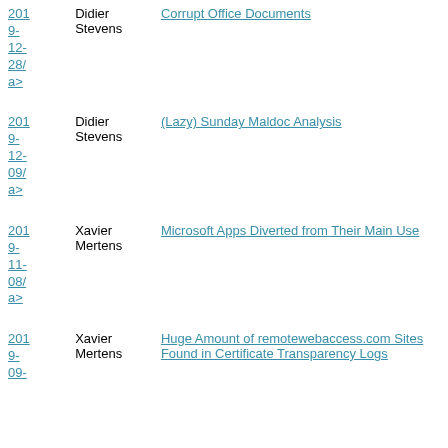| Date | Author | Title |
| --- | --- | --- |
| 2019-12-28/ a> | Didier Stevens | Corrupt Office Documents |
| 2019-12-09/ a> | Didier Stevens | (Lazy) Sunday Maldoc Analysis |
| 2019-11-08/ a> | Xavier Mertens | Microsoft Apps Diverted from Their Main Use |
| 2019-09- | Xavier Mertens | Huge Amount of remotewebaccess.com Sites Found in Certificate Transparency Logs |